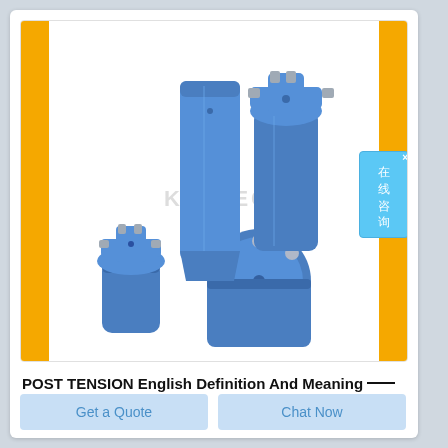[Figure (photo): Three blue drill bits/rock drilling tools displayed: a cross-bit (left), a tapered button bit shank (center-back), a cross-cut bit (right-back), and a spherical button bit lying on its side (front-right). All are blue steel with silver/grey carbide inserts. A watermark 'KELLEG' is visible in the center.]
POST TENSION English Definition And Meaning __
Get a Quote
Chat Now